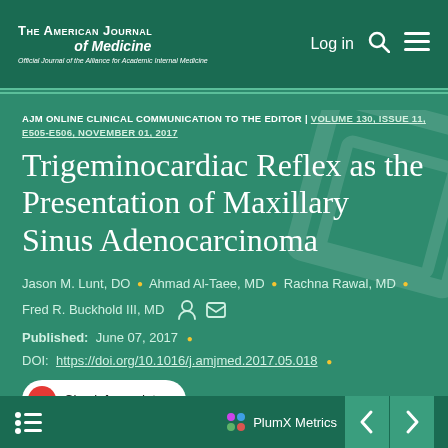The American Journal of Medicine | Official Journal of the Alliance for Academic Internal Medicine | Log in
AJM ONLINE CLINICAL COMMUNICATION TO THE EDITOR | VOLUME 130, ISSUE 11, E505-E506, NOVEMBER 01, 2017
Trigeminocardiac Reflex as the Presentation of Maxillary Sinus Adenocarcinoma
Jason M. Lunt, DO • Ahmad Al-Taee, MD • Rachna Rawal, MD • Fred R. Buckhold III, MD
Published: June 07, 2017
DOI: https://doi.org/10.1016/j.amjmed.2017.05.018
[Figure (other): Check for updates badge button]
[Figure (logo): PlumX Metrics logo with navigation arrows]